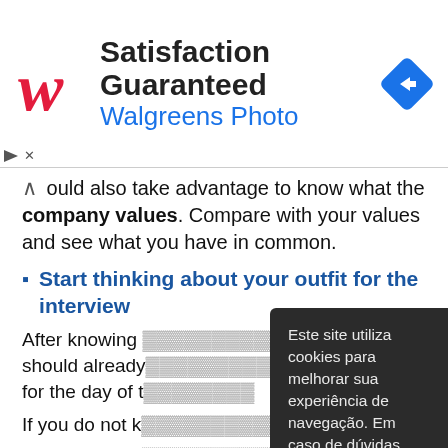[Figure (other): Walgreens Photo advertisement banner with logo, 'Satisfaction Guaranteed' title, 'Walgreens Photo' subtitle, and a navigation icon on the right.]
ould also take advantage to know what the company values. Compare with your values and see what you have in common.
Start thinking about your outfit for the interview
After knowing [obscured by overlay] should already [obscured] e for the day of t[he interview].
If you do not k[now...]
However, avoi[d...] someone who can look quickly at you and should have a
Este site utiliza cookies para melhorar sua experiência de navegação. Em caso de dúvidas, acesse a política de privacidade.